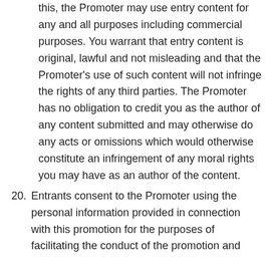this, the Promoter may use entry content for any and all purposes including commercial purposes. You warrant that entry content is original, lawful and not misleading and that the Promoter's use of such content will not infringe the rights of any third parties. The Promoter has no obligation to credit you as the author of any content submitted and may otherwise do any acts or omissions which would otherwise constitute an infringement of any moral rights you may have as an author of the content.
20. Entrants consent to the Promoter using the personal information provided in connection with this promotion for the purposes of facilitating the conduct of the promotion and